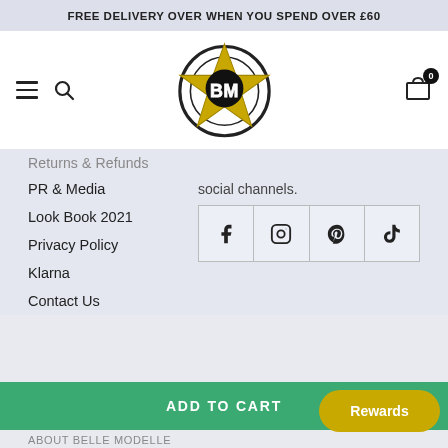FREE DELIVERY OVER WHEN YOU SPEND OVER £60
[Figure (logo): Belle Modelle BM star logo with circle, gold star and BM letters in black circle]
Returns & Refunds
social channels.
PR & Media
[Figure (infographic): Social media icons: Facebook, Instagram, Pinterest, TikTok in a 4-cell grid]
Look Book 2021
Privacy Policy
Klarna
Contact Us
ADD TO CART
Rewards
ABOUT BELLE MODELLE